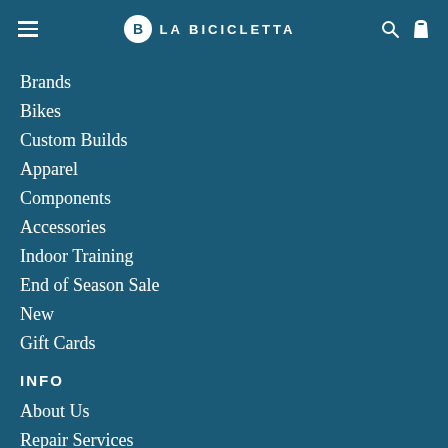LA BICICLETTA
Brands
Bikes
Custom Builds
Apparel
Components
Accessories
Indoor Training
End of Season Sale
New
Gift Cards
INFO
About Us
Repair Services
Cycling Club
Stories